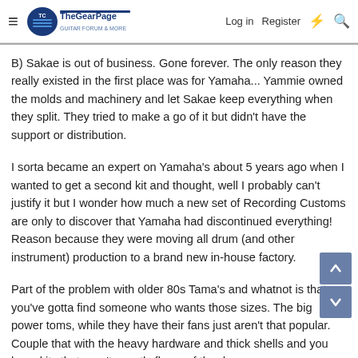The Gear Page — Log in  Register
B) Sakae is out of business. Gone forever. The only reason they really existed in the first place was for Yamaha... Yammie owned the molds and machinery and let Sakae keep everything when they split. They tried to make a go of it but didn't have the support or distribution.
I sorta became an expert on Yamaha's about 5 years ago when I wanted to get a second kit and thought, well I probably can't justify it but I wonder how much a new set of Recording Customs are only to discover that Yamaha had discontinued everything! Reason because they were moving all drum (and other instrument) production to a brand new in-house factory.
Part of the problem with older 80s Tama's and whatnot is that you've gotta find someone who wants those sizes. The big power toms, while they have their fans just aren't that popular. Couple that with the heavy hardware and thick shells and you have kits that aren't exactly flavor of the day.
Another factor is the overall value vs ease of sale. Most drum kits